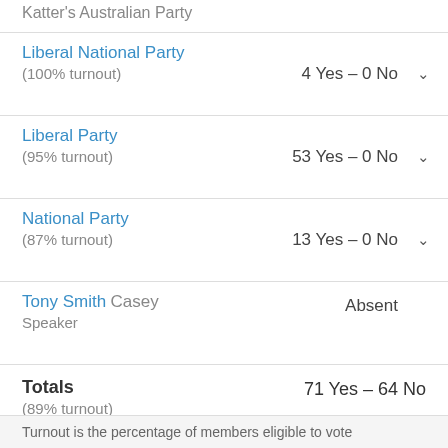Katter's Australian Party
Liberal National Party — 4 Yes – 0 No (100% turnout)
Liberal Party — 53 Yes – 0 No (95% turnout)
National Party — 13 Yes – 0 No (87% turnout)
Tony Smith Casey — Absent — Speaker
Totals — 71 Yes – 64 No (89% turnout)
Turnout is the percentage of members eligible to vote